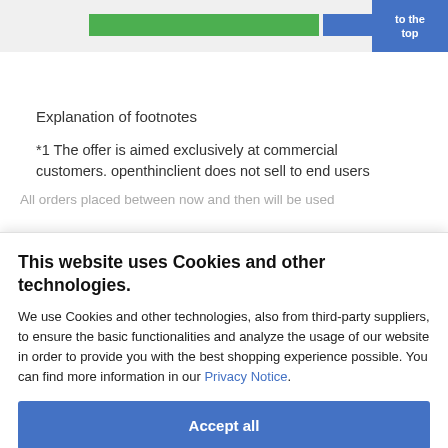[Figure (screenshot): Partial view of a webpage showing top navigation bar with green and blue bar chart elements and a blue 'to the top' button]
Explanation of footnotes
*1 The offer is aimed exclusively at commercial customers. openthinclient does not sell to end users
This website uses Cookies and other technologies. (cookie consent overlay)
We use Cookies and other technologies, also from third-party suppliers, to ensure the basic functionalities and analyze the usage of our website in order to provide you with the best shopping experience possible. You can find more information in our Privacy Notice.
Accept all
More information